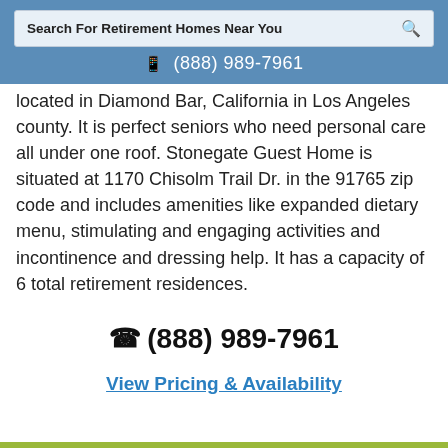Search For Retirement Homes Near You
(888) 989-7961
located in Diamond Bar, California in Los Angeles county. It is perfect seniors who need personal care all under one roof. Stonegate Guest Home is situated at 1170 Chisolm Trail Dr. in the 91765 zip code and includes amenities like expanded dietary menu, stimulating and engaging activities and incontinence and dressing help. It has a capacity of 6 total retirement residences.
(888) 989-7961
View Pricing & Availability